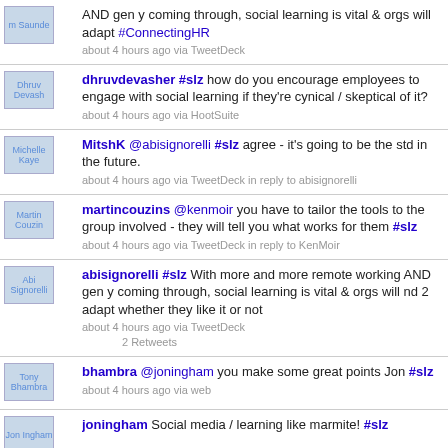m Saunde AND gen y coming through, social learning is vital & orgs will adapt #ConnectingHR about 4 hours ago via TweetDeck
Dhruv Devash dhruvdevasher #slz how do you encourage employees to engage with social learning if they're cynical / skeptical of it? about 4 hours ago via HootSuite
Michelle Kaye MitshK @abisignorelli #slz agree - it's going to be the std in the future. about 4 hours ago via TweetDeck in reply to abisignorelli
Martin Couzin martincouzins @kenmoir you have to tailor the tools to the group involved - they will tell you what works for them #slz about 4 hours ago via TweetDeck in reply to KenMoir
Abi Signorelli abisignorelli #slz With more and more remote working AND gen y coming through, social learning is vital & orgs will nd 2 adapt whether they like it or not about 4 hours ago via TweetDeck 2 Retweets
Tony Bhambra bhambra @joningham you make some great points Jon #slz about 4 hours ago via web
Jon Ingham joningham Social media / learning like marmite! #slz